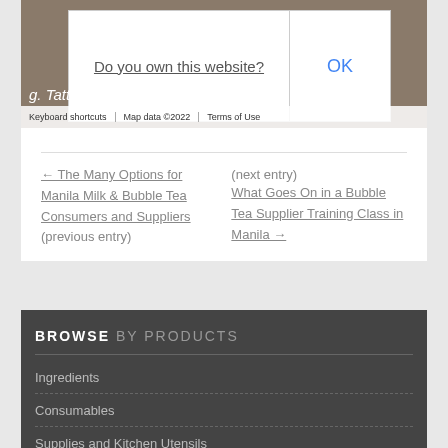[Figure (screenshot): Google Maps screenshot showing a dialog box asking 'Do you own this website?' with an OK button, overlaid on a map view with tattoo shop text visible and Google logo at bottom. Map footer shows 'Keyboard shortcuts | Map data ©2022 | Terms of Use']
← The Many Options for Manila Milk & Bubble Tea Consumers and Suppliers (previous entry)
(next entry) What Goes On in a Bubble Tea Supplier Training Class in Manila →
BROWSE BY PRODUCTS
Ingredients
Consumables
Supplies and Kitchen Utensils
Equipments